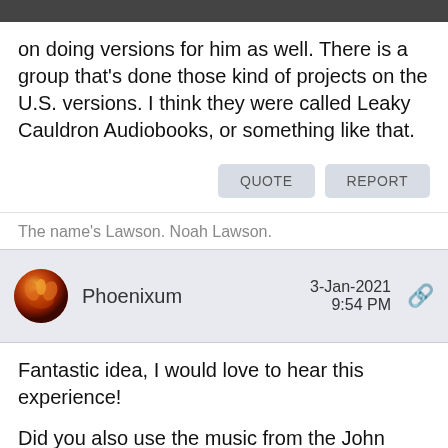on doing versions for him as well. There is a group that's done those kind of projects on the U.S. versions. I think they were called Leaky Cauldron Audiobooks, or something like that.
QUOTE   REPORT
The name's Lawson. Noah Lawson.
Phoenixum   3-Jan-2021 9:54 PM
Fantastic idea, I would love to hear this experience!
Did you also use the music from the John Williams collection from two years ago?
The Complete Recordings and Recording Sessions from the rest of the movies are also great.
I'd suggest the OST from Hogwarts Mystery and the